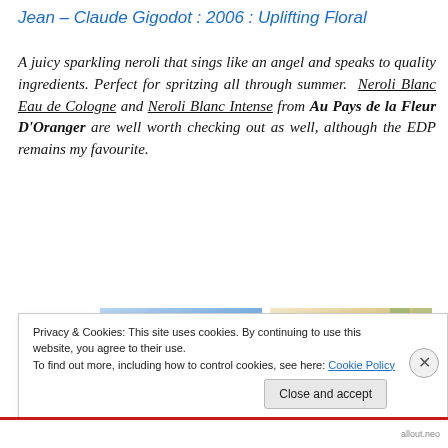Jean – Claude Gigodot : 2006 : Uplifting Floral
A juicy sparkling neroli that sings like an angel and speaks to quality ingredients. Perfect for spritzing all through summer. Neroli Blanc Eau de Cologne and Neroli Blanc Intense from Au Pays de la Fleur D'Oranger are well worth checking out as well, although the EDP remains my favourite.
[Figure (photo): Product image showing Fabre d'Hermès blue packaging]
[Figure (photo): Product image showing Monoï fragrance with cursive logo]
Privacy & Cookies: This site uses cookies. By continuing to use this website, you agree to their use.
To find out more, including how to control cookies, see here: Cookie Policy
Close and accept